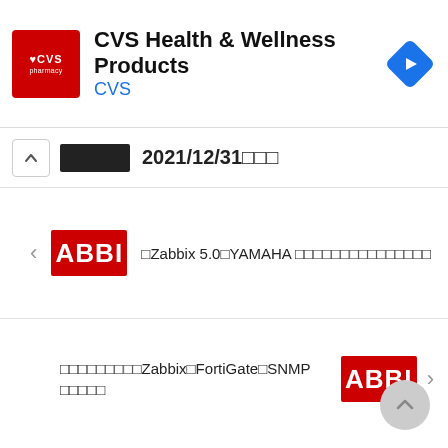[Figure (screenshot): CVS Health & Wellness Products advertisement banner with CVS pharmacy logo (red rectangle) on the left, title text 'CVS Health & Wellness Products' and subtitle 'CVS' in the center, and a blue navigation diamond icon on the right]
2021/12/31□□□
□Zabbix 5.0□YAMAHA □□□□□□□□□□□□□□□
□□□□□□□□□Zabbix□FortiGate□SNMP □□□□□